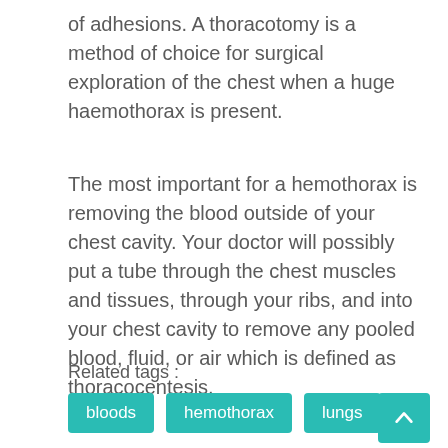of adhesions. A thoracotomy is a method of choice for surgical exploration of the chest when a huge haemothorax is present.
The most important for a hemothorax is removing the blood outside of your chest cavity. Your doctor will possibly put a tube through the chest muscles and tissues, through your ribs, and into your chest cavity to remove any pooled blood, fluid, or air which is defined as thoracocentesis.
Related tags :
bloods | hemothorax | lungs